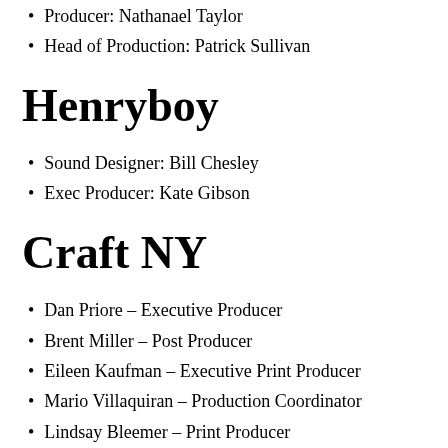Producer: Nathanael Taylor
Head of Production: Patrick Sullivan
Henryboy
Sound Designer:  Bill Chesley
Exec Producer: Kate Gibson
Craft NY
Dan Priore – Executive Producer
Brent Miller – Post Producer
Eileen Kaufman – Executive Print Producer
Mario Villaquiran – Production Coordinator
Lindsay Bleemer – Print Producer